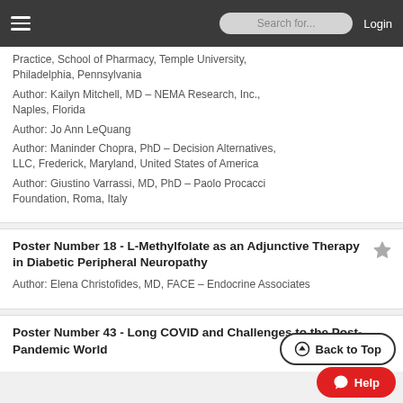Search for... Login
Practice, School of Pharmacy, Temple University, Philadelphia, Pennsylvania
Author: Kailyn Mitchell, MD – NEMA Research, Inc., Naples, Florida
Author: Jo Ann LeQuang
Author: Maninder Chopra, PhD – Decision Alternatives, LLC, Frederick, Maryland, United States of America
Author: Giustino Varrassi, MD, PhD – Paolo Procacci Foundation, Roma, Italy
Poster Number 18 - L-Methylfolate as an Adjunctive Therapy in Diabetic Peripheral Neuropathy
Author: Elena Christofides, MD, FACE – Endocrine Associates
Poster Number 43 - Long COVID and Challenges to the Post-Pandemic World